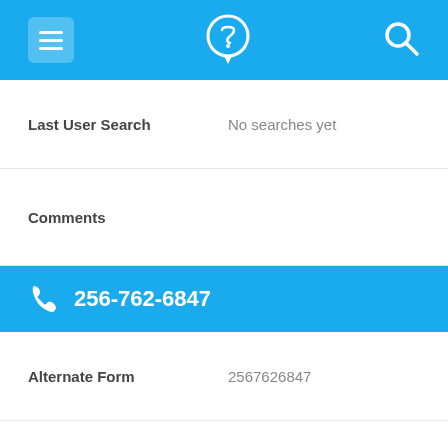[Figure (screenshot): Mobile app top navigation bar with menu (hamburger), phone/location icon, and search icon on blue background]
| Last User Search | No searches yet |
| Comments |  |
| 256-762-6847 |  |
| Alternate Form | 2567626847 |
| Caller name | 2 Listings found |
| URL | https://www.facebook.co... |
| Last User Search | No searches yet |
| Comments |  |